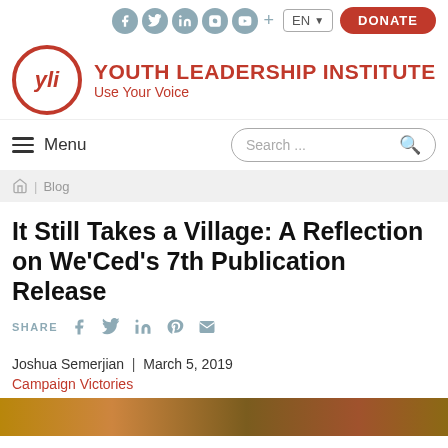Social icons + EN language selector + DONATE button
[Figure (logo): Youth Leadership Institute logo with YLI circle emblem and tagline 'Use Your Voice']
Menu | Search ...
Home | Blog
It Still Takes a Village: A Reflection on We'Ced's 7th Publication Release
SHARE
Joshua Semerjian  |  March 5, 2019
Campaign Victories
[Figure (photo): Bottom image strip showing partial photo]